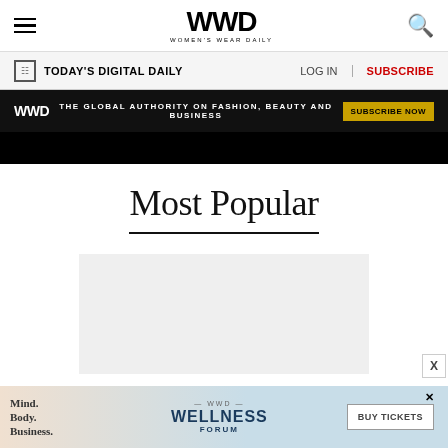WWD - Women's Wear Daily
TODAY'S DIGITAL DAILY | LOG IN | SUBSCRIBE
[Figure (infographic): WWD dark banner ad: THE GLOBAL AUTHORITY ON FASHION, BEAUTY AND BUSINESS | SUBSCRIBE NOW button]
Most Popular
[Figure (photo): Gray placeholder image for most popular article]
[Figure (infographic): Bottom ad banner: Mind. Body. Business. WWD WELLNESS FORUM BUY TICKETS button]